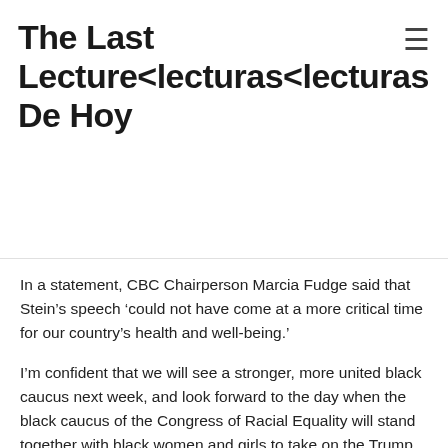The Last Lecture<lecturas<lecturas De Hoy
In a statement, CBC Chairperson Marcia Fudge said that Stein’s speech ‘could not have come at a more critical time for our country’s health and well-being.’
I’m confident that we will see a stronger, more united black caucus next week, and look forward to the day when the black caucus of the Congress of Racial Equality will stand together with black women and girls to take on the Trump Administration and its harmful policies and attacks on women, children, and families.’
Read more at Medical News Now